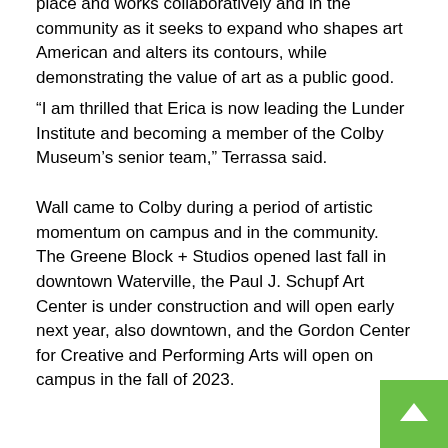place and works collaboratively and in the community as it seeks to expand who shapes art American and alters its contours, while demonstrating the value of art as a public good.
“I am thrilled that Erica is now leading the Lunder Institute and becoming a member of the Colby Museum’s senior team,” Terrassa said.
Wall came to Colby during a period of artistic momentum on campus and in the community. The Greene Block + Studios opened last fall in downtown Waterville, the Paul J. Schupf Art Center is under construction and will open early next year, also downtown, and the Gordon Center for Creative and Performing Arts will open on campus in the fall of 2023.
Wall said she was looking forward to beginning her work with the Lunder Institute.
“I am thrilled and honored to lead an institute that provides the community with the opportunity to engage in discussions and explorations that celebrate, challenge, and illuminate the mo…